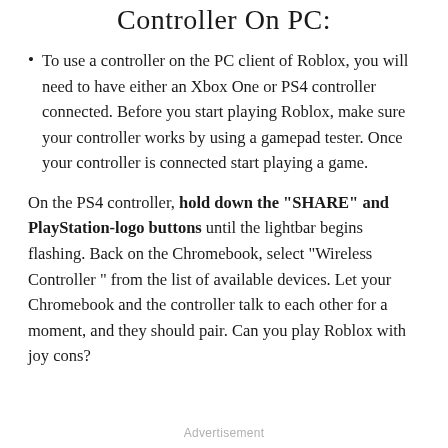Controller On PC:
To use a controller on the PC client of Roblox, you will need to have either an Xbox One or PS4 controller connected. Before you start playing Roblox, make sure your controller works by using a gamepad tester. Once your controller is connected start playing a game.
On the PS4 controller, hold down the "SHARE" and PlayStation-logo buttons until the lightbar begins flashing. Back on the Chromebook, select "Wireless Controller" from the list of available devices. Let your Chromebook and the controller talk to each other for a moment, and they should pair. Can you play Roblox with joy cons?
Advertisement